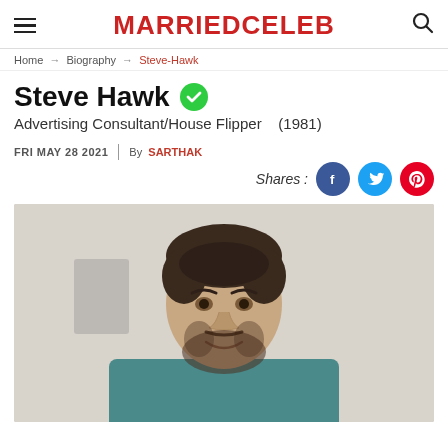MARRIEDCELEB
Home → Biography → Steve-Hawk
Steve Hawk
Advertising Consultant/House Flipper   (1981)
FRI MAY 28 2021  |  By SARTHAK
Shares:
[Figure (photo): Portrait photo of Steve Hawk, a man with short dark hair and a beard, wearing a teal/blue t-shirt, smiling, photographed indoors against a light background]